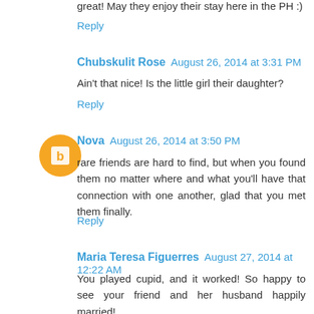great! May they enjoy their stay here in the PH :)
Reply
Chubskulit Rose  August 26, 2014 at 3:31 PM
Ain't that nice! Is the little girl their daughter?
Reply
Nova  August 26, 2014 at 3:50 PM
rare friends are hard to find, but when you found them no matter where and what you'll have that connection with one another, glad that you met them finally.
Reply
Maria Teresa Figuerres  August 27, 2014 at 12:22 AM
You played cupid, and it worked! So happy to see your friend and her husband happily married!